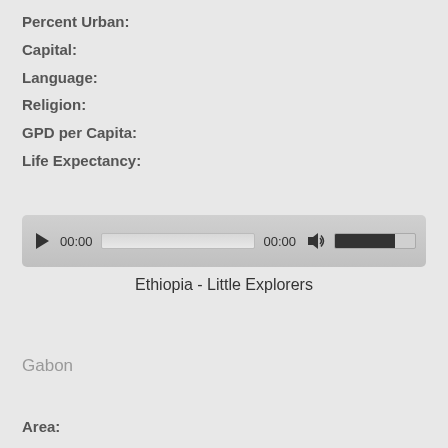Percent Urban:
Capital:
Language:
Religion:
GPD per Capita:
Life Expectancy:
[Figure (other): Audio player widget showing 00:00 timestamp, progress bar, volume control]
Ethiopia - Little Explorers
Gabon
Area: